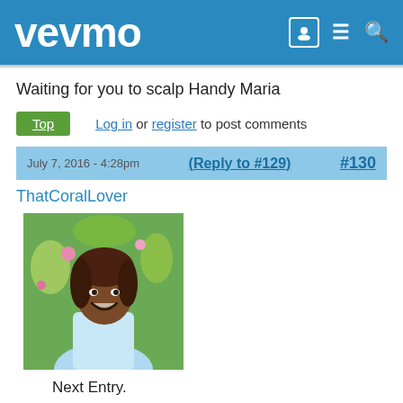vevmo
Waiting for you to scalp Handy Maria
Top   Log in or register to post comments
July 7, 2016 - 4:28pm (Reply to #129) #130
ThatCoralLover
[Figure (photo): Profile photo of a woman smiling outdoors with flowers in background]
Next Entry.
tj-lavin2.jpg